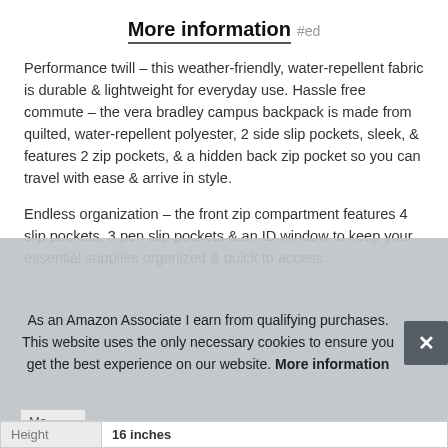More information #ed
Performance twill – this weather-friendly, water-repellent fabric is durable & lightweight for everyday use. Hassle free commute – the vera bradley campus backpack is made from quilted, water-repellent polyester, 2 side slip pockets, sleek, & features 2 zip pockets, & a hidden back zip pocket so you can travel with ease & arrive in style.
Endless organization – the front zip compartment features 4 slip pockets, 3 pen slip pockets & an ID window to keep your essential supplies organized & quick to access.
| Height | 16 inches |
As an Amazon Associate I earn from qualifying purchases. This website uses the only necessary cookies to ensure you get the best experience on our website. More information